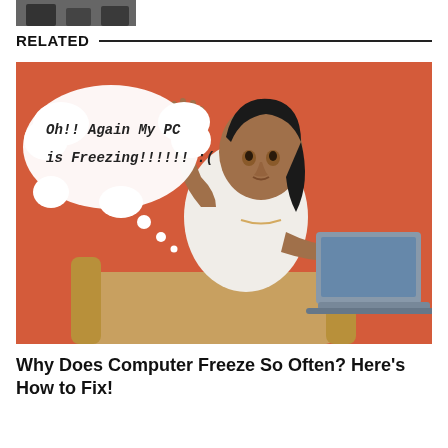[Figure (photo): Partial cropped image at top of page, showing what appears to be a dark/person image thumbnail]
RELATED
[Figure (photo): Photo of a woman sitting at a desk with a laptop, looking frustrated, raising one hand, against an orange background. A thought bubble reads: Oh!! Again My PC is Freezing!!!!!! :(]
Why Does Computer Freeze So Often? Here’s How to Fix!